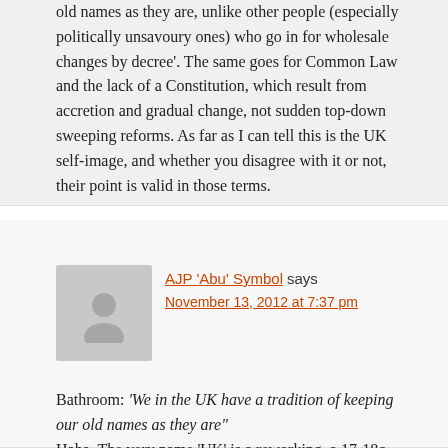old names as they are, unlike other people (especially politically unsavoury ones) who go in for wholesale changes by decree'. The same goes for Common Law and the lack of a Constitution, which result from accretion and gradual change, not sudden top-down sweeping reforms. As far as I can tell this is the UK self-image, and whether you disagree with it or not, their point is valid in those terms.
AJP 'Abu' Symbol says
November 13, 2012 at 7:37 pm
Bathroom: 'We in the UK have a tradition of keeping our old names as they are"
Haha. The very name 'UK' is a reworking, a 17-18c coinage (presumably), invented for political reasons. Moving fractionally off topic, I have terrible trouble trying to find England in international lists. Where is it